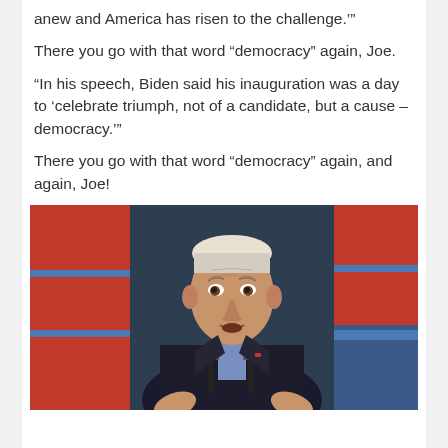anew and America has risen to the challenge.’”
There you go with that word “democracy” again, Joe.
“In his speech, Biden said his inauguration was a day to ‘celebrate triumph, not of a candidate, but a cause – democracy.’”
There you go with that word “democracy” again, and again, Joe!
[Figure (photo): Photo of Joe Biden speaking at a podium with microphones, wearing a dark suit, with red and blue striped backdrop behind him.]